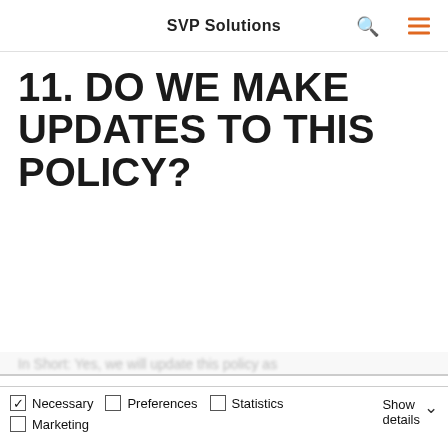SVP Solutions
11. DO WE MAKE UPDATES TO THIS POLICY?
In Short: Yes, we will update this policy as
This website uses cookies
We use cookies to personalise content and ads, to provide social media features and to analyse our traffic. We also share information about your use of our site with our social media, advertising and analytics partners who may combine it with other information that you've provided to them or that they've collected from your use of their services.
Allow all cookies
Allow selection
Use necessary cookies only
Necessary  Preferences  Statistics  Marketing  Show details